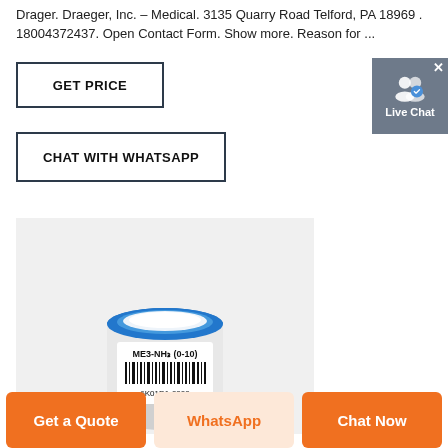Drager. Draeger, Inc. – Medical. 3135 Quarry Road Telford, PA 18969 . 18004372437. Open Contact Form. Show more. Reason for ...
[Figure (screenshot): GET PRICE button with dark border on white background]
[Figure (screenshot): Live Chat button widget with user icon and blue checkmark, gray background]
[Figure (screenshot): CHAT WITH WHATSAPP button with dark border on white background]
[Figure (photo): Draeger ME3-NH3 (0-10) electrochemical sensor module with blue ring top, white label with barcode and part number 6K01D1-0000, on light gray background]
Get a Quote
WhatsApp
Chat Now